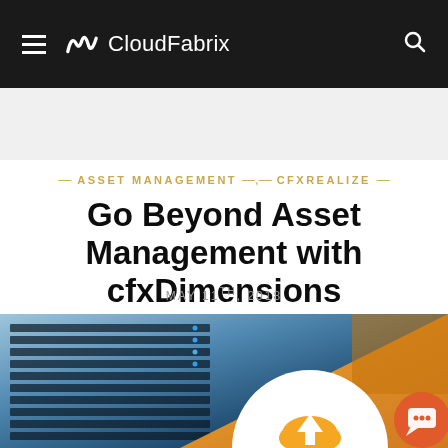CloudFabrix
ASSET MANAGEMENT — , — CFXREALIZE
Go Beyond Asset Management with cfxDimensions
MAY 11th, 2018
[Figure (photo): Server rack hardware image with orange geometric overlay, white circle with cloud/analytics icon, and orange chat button in lower right]